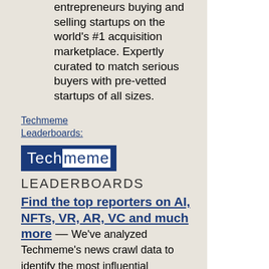entrepreneurs buying and selling startups on the world's #1 acquisition marketplace. Expertly curated to match serious buyers with pre-vetted startups of all sizes.
Techmeme Leaderboards:
[Figure (logo): Techmeme logo with white text 'Tech' and blue text 'meme' on dark blue background]
LEADERBOARDS
Find the top reporters on AI, NFTs, VR, AR, VC and much more — We've analyzed Techmeme's news crawl data to identify the most influential